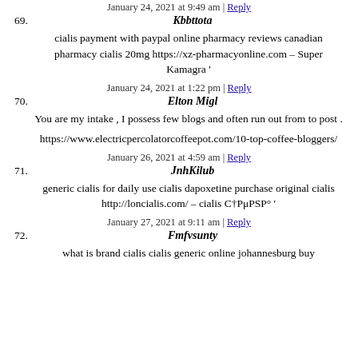January 24, 2021 at 9:49 am | Reply
69. Kbbttota
cialis payment with paypal online pharmacy reviews canadian pharmacy cialis 20mg https://xz-pharmacyonline.com – Super Kamagra '
January 24, 2021 at 1:22 pm | Reply
70. Elton Migl
You are my intake , I possess few blogs and often run out from to post .
https://www.electricpercolatorcoffeepot.com/10-top-coffee-bloggers/
January 26, 2021 at 4:59 am | Reply
71. JnhKilub
generic cialis for daily use cialis dapoxetine purchase original cialis http://loncialis.com/ – cialis C†PµPSP° '
January 27, 2021 at 9:11 am | Reply
72. Fmfvsunty
what is brand cialis cialis generic online johannesburg buy